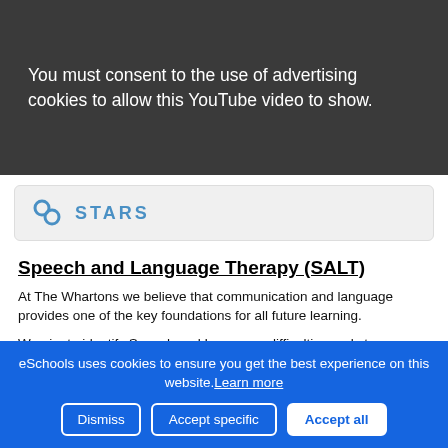[Figure (screenshot): Dark grey banner with text: You must consent to the use of advertising cookies to allow this YouTube video to show.]
STARS
Speech and Language Therapy (SALT)
At The Whartons we believe that communication and language provides one of the key foundations for all future learning.
We aim to identify Speech and Language difficulties early to ensure that a robust programme is put in place to support the child. Children may demonstrate delay in one (or more) of the following areas:
(partial text cut off at bottom)
eSchools uses cookies to ensure you get the best experience on this website. Learn more
Dismiss  Accept specific  Accept all